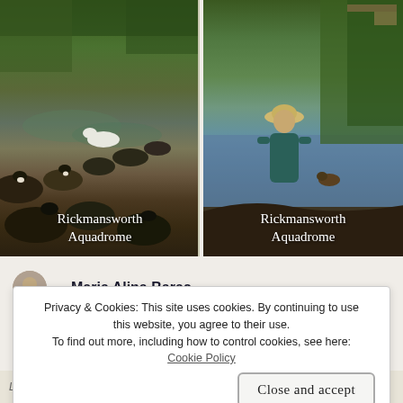[Figure (photo): Two side-by-side photos of Rickmansworth Aquadrome. Left photo shows geese and a swan on a river/lake. Right photo shows a child in a hat watching a duck by the water's edge.]
Rickmansworth Aquadrome
Rickmansworth Aquadrome
Maria Alina Barac
Privacy & Cookies: This site uses cookies. By continuing to use this website, you agree to their use.
To find out more, including how to control cookies, see here: Cookie Policy
Close and accept
Long Run